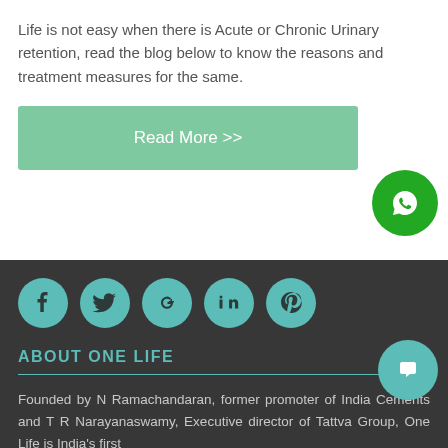Life is not easy when there is Acute or Chronic Urinary retention, read the blog below to know the reasons and treatment measures for the same.
[Figure (other): Green button with text 'Read More >>']
[Figure (other): WhatsApp floating button (green circle with phone icon)]
[Figure (other): Social media icons row: Facebook, Twitter, Google+, LinkedIn, Pinterest (teal circles on dark background)]
ABOUT ONE LIFE
Founded by N Ramachandaran, former promoter of India Cements and T R Narayanaswamy, Executive director of Tattva Group, One Life is India's first
[Figure (other): Chat floating button (teal circle with chat bubble icon)]